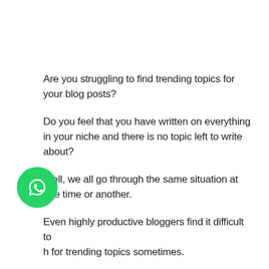Are you struggling to find trending topics for your blog posts?
Do you feel that you have written on everything in your niche and there is no topic left to write about?
Well, we all go through the same situation at one time or another.
Even highly productive bloggers find it difficult to [search] for trending topics sometimes.
Before writing my previous post- 11 Top On-Page SEO Mistakes and How to Fix Them, I felt